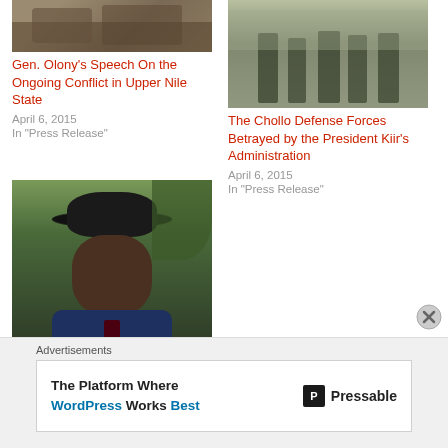[Figure (photo): Partial image of people, top of left column]
Gen. Olony's Speech On the Ongoing Conflict in Upper Nile State
April 6, 2015
In "Press Release"
[Figure (photo): Soldiers or people in military context, top of right column]
The Chollo Defense Forces Betrayed by the President Kiir's Administration
April 6, 2015
In "Press Release"
[Figure (photo): Man wearing black cowboy hat, Salva Kiir]
Salva Kiir Government: From tribal to regional govt!!
April 24, 2014
Advertisements
[Figure (screenshot): Advertisement banner: The Platform Where WordPress Works Best - Pressable]